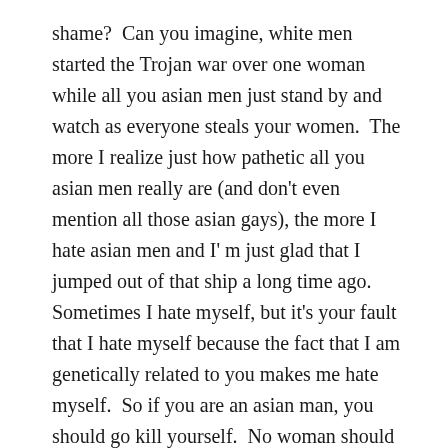shame?  Can you imagine, white men started the Trojan war over one woman while all you asian men just stand by and watch as everyone steals your women.  The more I realize just how pathetic all you asian men really are (and don't even mention all those asian gays), the more I hate asian men and I' m just glad that I jumped out of that ship a long time ago.  Sometimes I hate myself, but it's your fault that I hate myself because the fact that I am genetically related to you makes me hate myself.  So if you are an asian man, you should go kill yourself.  No woman should ever be allowed to mate with you because you don't even know how to protect your own women.
So yeah, as long as you are not an asian man, I'm